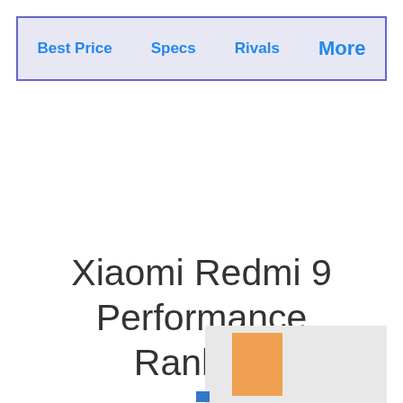Best Price | Specs | Rivals | More
Xiaomi Redmi 9 Performance Ranking
[Figure (other): Partial image showing an orange rectangle on a light gray background, likely part of a performance ranking chart or device image.]